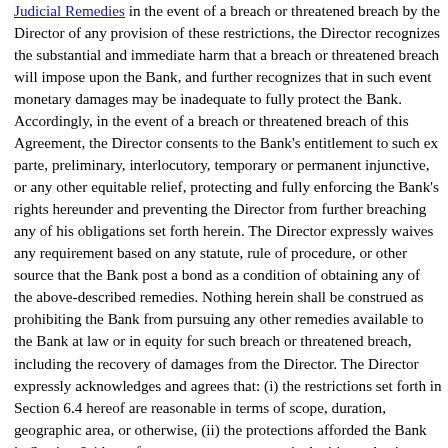Judicial Remedies in the event of a breach or threatened breach by the Director of any provision of these restrictions, the Director recognizes the substantial and immediate harm that a breach or threatened breach will impose upon the Bank, and further recognizes that in such event monetary damages may be inadequate to fully protect the Bank. Accordingly, in the event of a breach or threatened breach of this Agreement, the Director consents to the Bank's entitlement to such ex parte, preliminary, interlocutory, temporary or permanent injunctive, or any other equitable relief, protecting and fully enforcing the Bank's rights hereunder and preventing the Director from further breaching any of his obligations set forth herein. The Director expressly waives any requirement based on any statute, rule of procedure, or other source that the Bank post a bond as a condition of obtaining any of the above-described remedies. Nothing herein shall be construed as prohibiting the Bank from pursuing any other remedies available to the Bank at law or in equity for such breach or threatened breach, including the recovery of damages from the Director. The Director expressly acknowledges and agrees that: (i) the restrictions set forth in Section 6.4 hereof are reasonable in terms of scope, duration, geographic area, or otherwise, (ii) the protections afforded the Bank in Section 6.4 hereof are necessary to protect its legitimate business interest, (iii) the restrictions set forth in Section 6.4 hereof will not be materially adverse to the Director's service with the Bank, and (iv) his agreement to observe such restrictions forms a material part of the consideration for this Agreement.